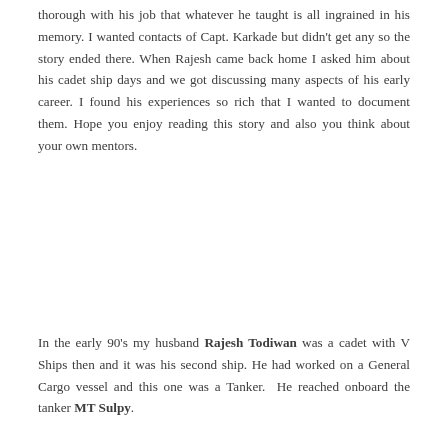thorough with his job that whatever he taught is all ingrained in his memory. I wanted contacts of Capt. Karkade but didn't get any so the story ended there. When Rajesh came back home I asked him about his cadet ship days and we got discussing many aspects of his early career. I found his experiences so rich that I wanted to document them. Hope you enjoy reading this story and also you think about your own mentors.
In the early 90's my husband Rajesh Todiwan was a cadet with V Ships then and it was his second ship. He had worked on a General Cargo vessel and this one was a Tanker. He reached onboard the tanker MT Sulpy.